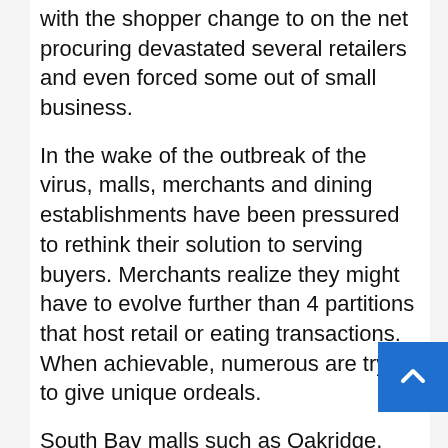with the shopper change to on the net procuring devastated several retailers and even forced some out of small business.
In the wake of the outbreak of the virus, malls, merchants and dining establishments have been pressured to rethink their solution to serving buyers. Merchants realize they might have to evolve further than 4 partitions that host retail or eating transactions. When achievable, numerous are trying to give unique ordeals.
South Bay malls such as Oakridge, Santana Row, Westfield Valley Fair and Stanford Buying Heart have managed to entice buyers with a new crop of retailers that in much more than a few instances vary from their tenants prior to the arrival of the coronavirus.